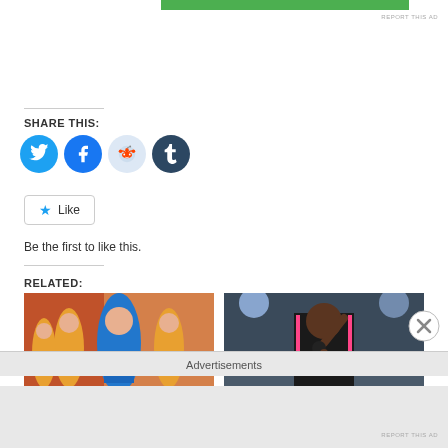[Figure (other): Green advertisement banner at top]
REPORT THIS AD
SHARE THIS:
[Figure (other): Social media sharing icons: Twitter (blue), Facebook (blue), Reddit (light blue), Tumblr (dark blue)]
[Figure (other): Like button with star icon]
Be the first to like this.
RELATED:
[Figure (photo): Performers on stage in blue and yellow outfits]
[Figure (photo): Young performer singing into microphone on stage]
Advertisements
REPORT THIS AD